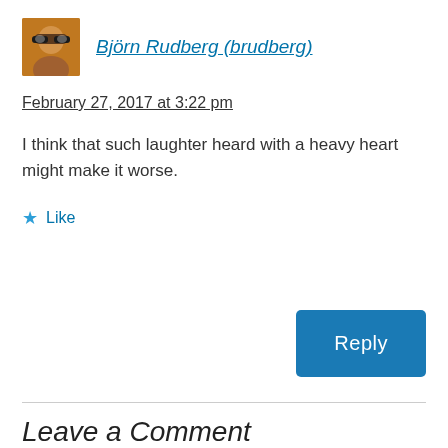[Figure (photo): Avatar photo of a person wearing sunglasses, small square profile image]
Björn Rudberg (brudberg)
February 27, 2017 at 3:22 pm
I think that such laughter heard with a heavy heart might make it worse.
★ Like
Reply
Leave a Comment
Your email address will not be published. Required fields are